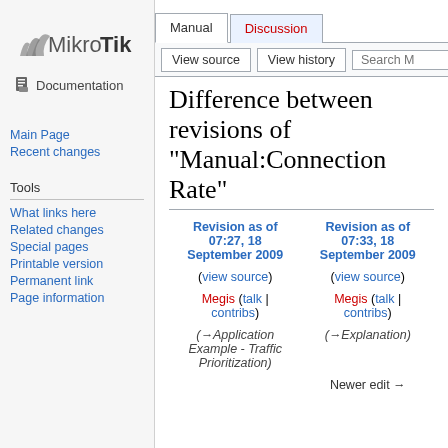[Figure (logo): MikroTik logo with text 'MikroTik' and 'Documentation' below]
Main Page
Recent changes
Tools
What links here
Related changes
Special pages
Printable version
Permanent link
Page information
Manual | Discussion | View source | View history | Search M
Difference between revisions of "Manual:Connection Rate"
| Revision as of 07:27, 18 September 2009 | Revision as of 07:33, 18 September 2009 |
| --- | --- |
| (view source) | (view source) |
| Megis (talk | contribs) | Megis (talk | contribs) |
| (→Application Example - Traffic Prioritization) | (→Explanation) |
|  | Newer edit → |